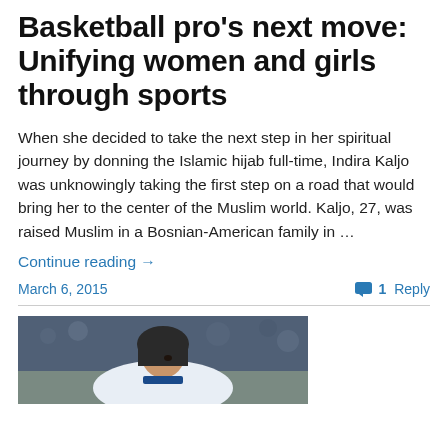Basketball pro's next move: Unifying women and girls through sports
When she decided to take the next step in her spiritual journey by donning the Islamic hijab full-time, Indira Kaljo was unknowingly taking the first step on a road that would bring her to the center of the Muslim world. Kaljo, 27, was raised Muslim in a Bosnian-American family in …
Continue reading →
March 6, 2015    1 Reply
[Figure (photo): A female basketball player wearing a hijab and blue/white uniform, looking upward on a basketball court with blurred audience in background.]